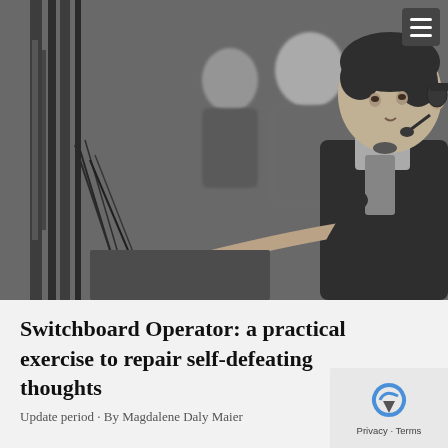[Figure (photo): Black and white vintage photograph of female telephone switchboard operators working at a large switchboard panel, women in 1930s-era clothing with headsets]
Switchboard Operator: a practical exercise to repair self-defeating thoughts
Update period · By Magdalene Daly Maier